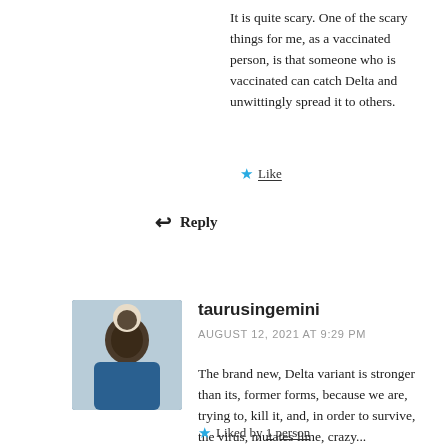It is quite scary. One of the scary things for me, as a vaccinated person, is that someone who is vaccinated can catch Delta and unwittingly spread it to others.
Like
Reply
taurusingemini
AUGUST 12, 2021 AT 9:29 PM
The brand new, Delta variant is stronger than its, former forms, because we are, trying to, kill it, and, in order to survive, the virus, mutates lime, crazy...
Liked by 1 person